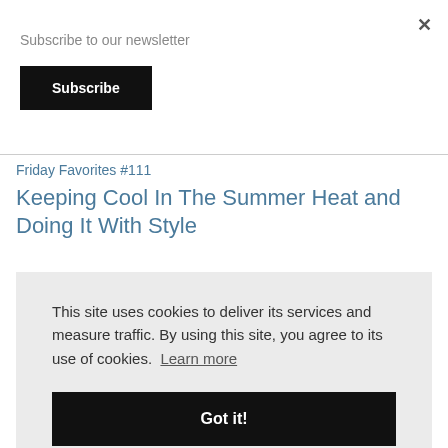Subscribe to our newsletter
Subscribe
×
Friday Favorites #111
Keeping Cool In The Summer Heat and Doing It With Style
This site uses cookies to deliver its services and measure traffic. By using this site, you agree to its use of cookies. Learn more
Got it!